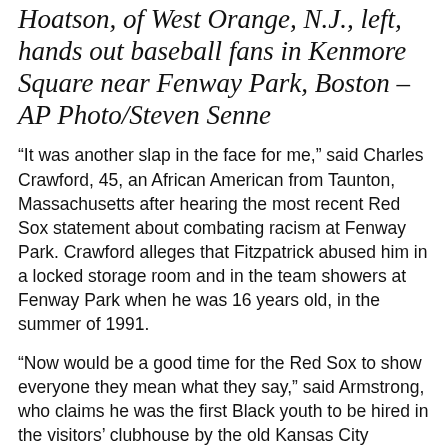Hoatson, of West Orange, N.J., left, hands out baseball fans in Kenmore Square near Fenway Boston – AP Photo/Steven Senne
“It was another slap in the face for me,” said Charles Crawford, 45, an African American from Taunton, Massachusetts after hearing the most recent Red Sox statement about combating racism at Fenway Park. Crawford alleges that Fitzpatrick abused him in a locked storage room and in the team showers at Fenway Park when he was 16 years old, in the summer of 1991.
“Now would be a good time for the Red Sox to show everyone they mean what they say,” said Armstrong, who claims he was the first Black youth to be hired in the visitors’ clubhouse by the old Kansas City Athletics — only to be allegedly abused by Fitzpatrick multiple times in a stadium storage room and the historic Muehlebach Hotel